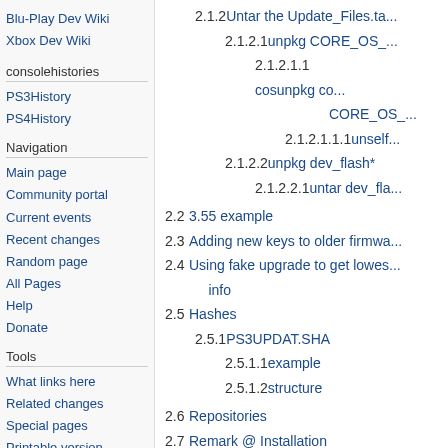Blu-Play Dev Wiki
Xbox Dev Wiki
consolehistories
PS3History
PS4History
Navigation
Main page
Community portal
Current events
Recent changes
Random page
All Pages
Help
Donate
Tools
What links here
Related changes
Special pages
Printable version
Permanent link
2.1.2  Untar the Update_Files.ta...
2.1.2.1  unpkg CORE_OS_...
2.1.2.1.1  cosunpkg co... CORE_OS_...
2.1.2.1.1.1  unself...
2.1.2.2  unpkg dev_flash*
2.1.2.2.1  untar dev_fla...
2.2  3.55 example
2.3  Adding new keys to older firmwa...
2.4  Using fake upgrade to get lowes... info
2.5  Hashes
2.5.1  PS3UPDAT.SHA
2.5.1.1  example
2.5.1.2  structure
2.6  Repositories
2.7  Remark @ Installation
2.8  No applicable data found - techn...
2.9  Sample Logs normal installation...
2.10  Factory Service Mode - Installa...
2.11  old crossgrading Retail/CEX t...